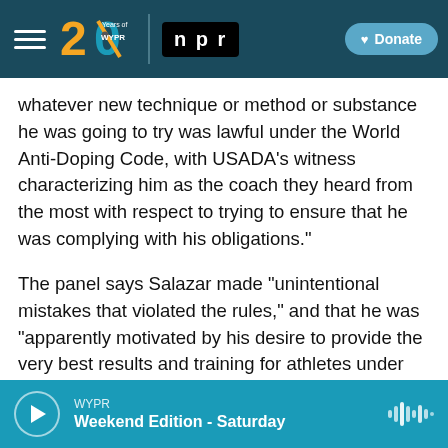[Figure (screenshot): WYPR 20 Years logo and NPR navigation header bar with Donate button]
whatever new technique or method or substance he was going to try was lawful under the World Anti-Doping Code, with USADA's witness characterizing him as the coach they heard from the most with respect to trying to ensure that he was complying with his obligations."
The panel says Salazar made "unintentional mistakes that violated the rules," and that he was "apparently motivated by his desire to provide the very best results and training for athletes under his care."
WYPR | Weekend Edition - Saturday